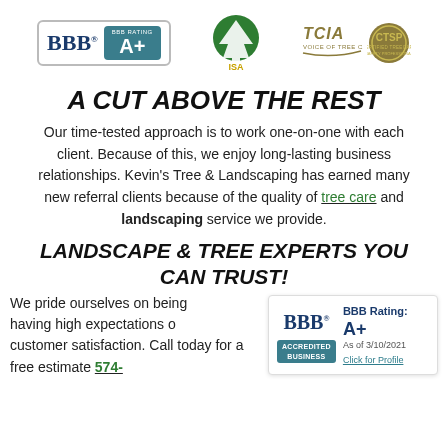[Figure (logo): BBB Accredited A+ rating logo, ISA (International Society of Arboriculture) logo with green tree, TCIA Voice of Tree Care and CTSP certification logos]
A CUT ABOVE THE REST
Our time-tested approach is to work one-on-one with each client. Because of this, we enjoy long-lasting business relationships. Kevin's Tree & Landscaping has earned many new referral clients because of the quality of tree care and landscaping service we provide.
LANDSCAPE & TREE EXPERTS YOU CAN TRUST!
We pride ourselves on being [BBB badge] having high expectations o... customer satisfaction. Call today for a free estimate 574-